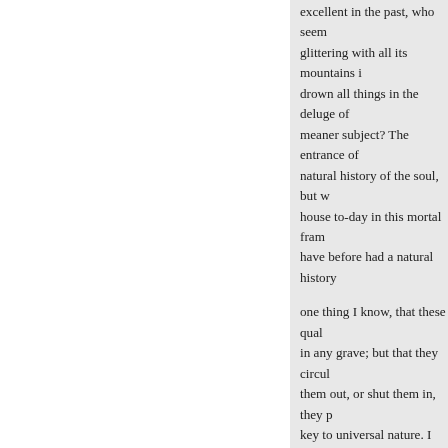excellent in the past, who seem glittering with all its mountains i drown all things in the deluge of meaner subject? The entrance of natural history of the soul, but w house to-day in this mortal fram have before had a natural history
one thing I know, that these qual in any grave; but that they circul them out, or shut them in, they p key to universal nature. I draw fr to be surprised by any communic will. The soul is in her native rea Pusillanimity and fear she refuse robes, and goes out through univ
VOL. I.
MAN THE REFORMER.
A LECTURE READ BEFORE T BOSTON, JANUARY 25, 1841.
« Ankstesnis